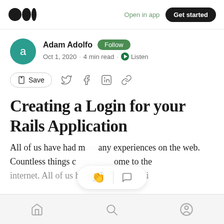Open in app  Get started
Adam Adolfo  Follow
Oct 1, 2020 · 4 min read · Listen
Save (share icons)
Creating a Login for your Rails Application
All of us have had many experiences on the web. Countless things come to the internet. All of us have our different hi...
Home  Search  Profile